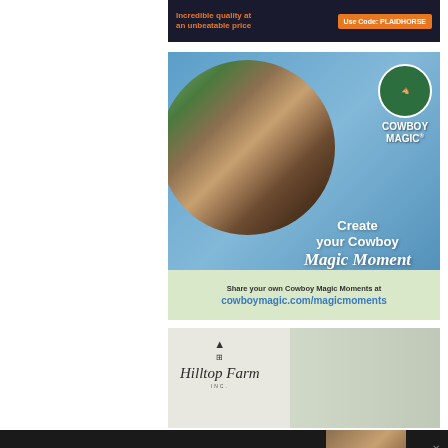[Figure (illustration): Top advertisement banner: dark background with orange text 'Incredible quality at an unbeatable price' and orange button 'Use Code: PLAIDHORSE']
[Figure (illustration): Cowboy Magic advertisement with blue background, circular photo of woman with horse, Cowboy Magic logo, text 'Create your Cowboy Magic Moment', green mint footer with 'Share your own Cowboy Magic Moments at cowboymagic.com/magicmoments']
[Figure (illustration): Hilltop Farm Inc. advertisement with logo showing barn cupola symbol and serif text 'Hilltop Farm Inc.' against light green/grey background with fencing]
[Figure (illustration): Dark bottom bar with '#AloneTogether' text in green and close X buttons, with photo of two people on right side]